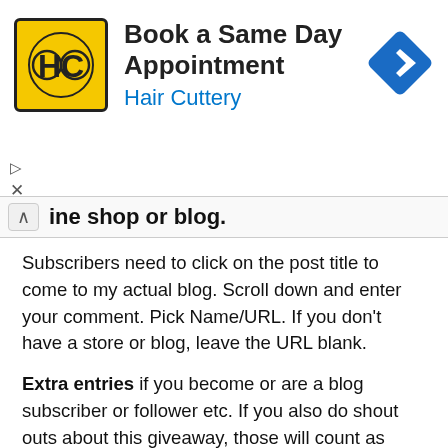[Figure (screenshot): Hair Cuttery advertisement banner with yellow HC logo, text 'Book a Same Day Appointment' and 'Hair Cuttery' in blue, and a blue diamond-shaped arrow icon on the right.]
ine shop or blog.
Subscribers need to click on the post title to come to my actual blog. Scroll down and enter your comment. Pick Name/URL. If you don't have a store or blog, leave the URL blank.
Extra entries if you become or are a blog subscriber or follower etc. If you also do shout outs about this giveaway, those will count as additional entries too! Please say so in the comments.
It ends in a week's time at 6 pm EST Monday, December 2, 2013. I will pick the winner randomly and announce the results as soon as possible after. So be